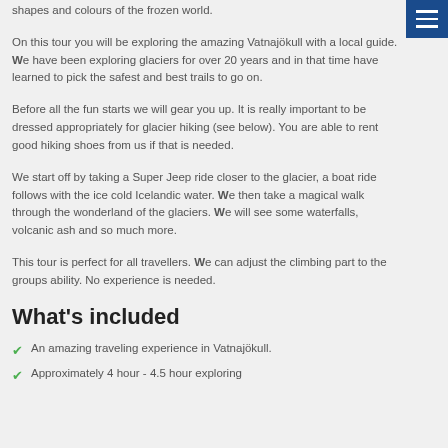shapes and colours of the frozen world.
On this tour you will be exploring the amazing Vatnajökull with a local guide. We have been exploring glaciers for over 20 years and in that time have learned to pick the safest and best trails to go on.
Before all the fun starts we will gear you up. It is really important to be dressed appropriately for glacier hiking (see below). You are able to rent good hiking shoes from us if that is needed.
We start off by taking a Super Jeep ride closer to the glacier, a boat ride follows with the ice cold Icelandic water. We then take a magical walk through the wonderland of the glaciers. We will see some waterfalls, volcanic ash and so much more.
This tour is perfect for all travellers. We can adjust the climbing part to the groups ability. No experience is needed.
What's included
An amazing traveling experience in Vatnajökull.
Approximately 4 hour - 4.5 hour exploring